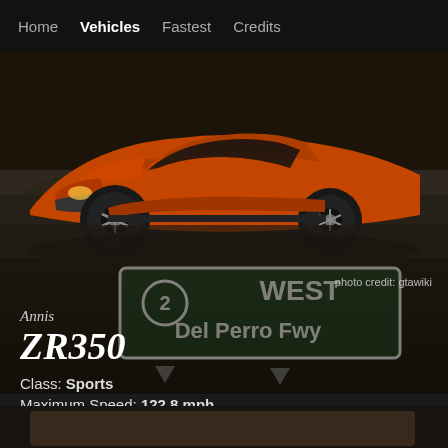Home  Vehicles  Fastest  Credits
[Figure (photo): Orange sports car (Annis ZR350) front low angle view on asphalt, with a road sign showing 'WEST 2 Del Perro Fwy' in the background]
photo credit: gtawiki
Annis ZR350
Class: Sports
Maximum Speed: 122.8 mph
Price: $1,615,000
Legendary Motorsport
Los Santos Tuners